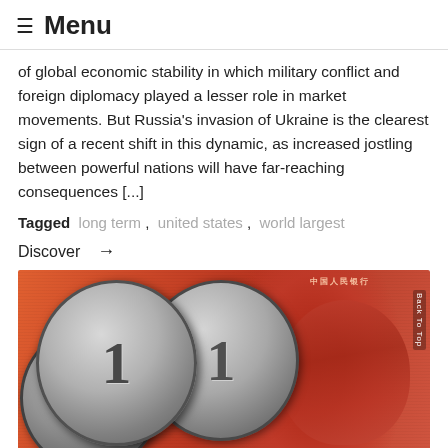≡ Menu
of global economic stability in which military conflict and foreign diplomacy played a lesser role in market movements. But Russia's invasion of Ukraine is the clearest sign of a recent shift in this dynamic, as increased jostling between powerful nations will have far-reaching consequences [...]
Tagged  long term ,  united states ,  world largest
Discover →
[Figure (photo): Close-up photograph of Chinese yuan coins (1 yuan denomination) overlapping with a red Chinese renminbi banknote featuring Mao Zedong's portrait. The coins are silver-colored with the numeral 1 visible. A 'Back To Top' label appears vertically on the right edge.]